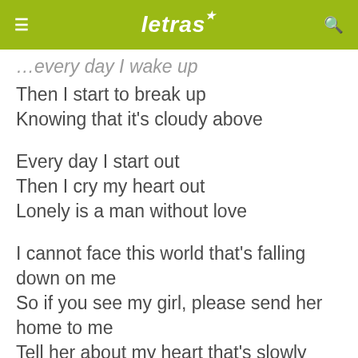letras
Then I start to break up
Knowing that it's cloudy above
Every day I start out
Then I cry my heart out
Lonely is a man without love
I cannot face this world that's falling down on me
So if you see my girl, please send her home to me
Tell her about my heart that's slowly dying
Say I can't stop myself from crying
Every day I wake up
Then I start to break up